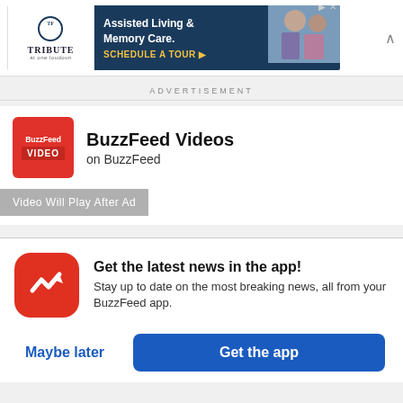[Figure (screenshot): Advertisement banner for Tribute at One Loudoun Assisted Living & Memory Care with Schedule a Tour CTA]
ADVERTISEMENT
[Figure (logo): BuzzFeed Video logo - red square with BuzzFeed Video text]
BuzzFeed Videos
on BuzzFeed
Video Will Play After Ad
Get the latest news in the app!
Stay up to date on the most breaking news, all from your BuzzFeed app.
Maybe later
Get the app